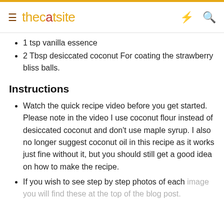thecatsite
1 tsp vanilla essence
2 Tbsp desiccated coconut For coating the strawberry bliss balls.
Instructions
Watch the quick recipe video before you get started. Please note in the video I use coconut flour instead of desiccated coconut and don't use maple syrup. I also no longer suggest coconut oil in this recipe as it works just fine without it, but you should still get a good idea on how to make the recipe.
If you wish to see step by step photos of each image you will find these at the top of the blog post.